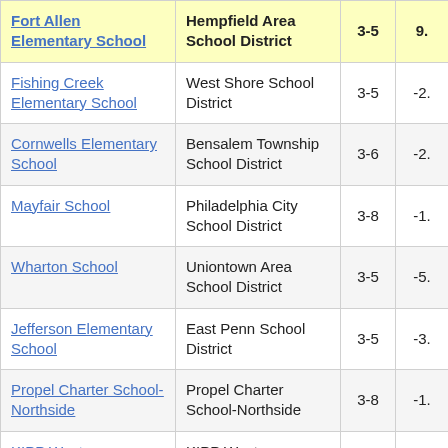| School | District | Grades | Value |
| --- | --- | --- | --- |
| Fort Allen Elementary School | Hempfield Area School District | 3-5 | 9. |
| Fishing Creek Elementary School | West Shore School District | 3-5 | -2. |
| Cornwells Elementary School | Bensalem Township School District | 3-6 | -2. |
| Mayfair School | Philadelphia City School District | 3-8 | -1. |
| Wharton School | Uniontown Area School District | 3-5 | -5. |
| Jefferson Elementary School | East Penn School District | 3-5 | -3. |
| Propel Charter School-Northside | Propel Charter School-Northside | 3-8 | -1. |
| KIPP West Philadelphia Charter School | KIPP West Philadelphia Charter School | 3-8 | -2. |